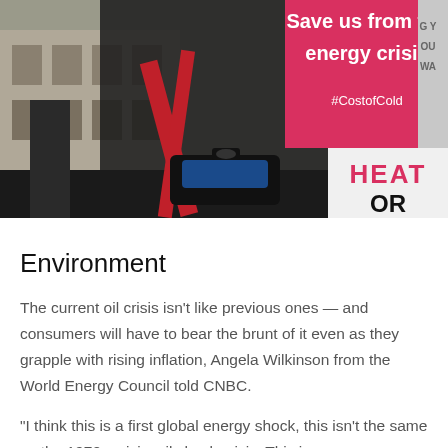[Figure (photo): Protest scene with a person holding a sign reading 'Save us from the energy crisis #CostofCold' in pink, and another sign partially visible reading 'HEAT OR', in an outdoor urban setting.]
Environment
The current oil crisis isn't like previous ones — and consumers will have to bear the brunt of it even as they grapple with rising inflation, Angela Wilkinson from the World Energy Council told CNBC.
“I think this is a first global energy shock, this isn’t the same as the 1970s crisis, oil shock crisis. This is a … consumer driven crisis and the consumer-driven adjustments that are going to come out of this are going